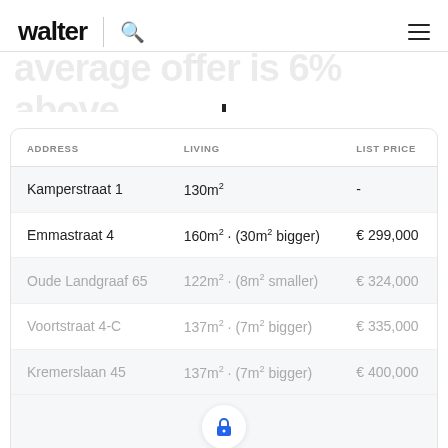walter
average offer is 6% above list price.
| ADDRESS | LIVING | LIST PRICE |
| --- | --- | --- |
| Kamperstraat 1 | 130m² | - |
| Emmastraat 4 | 160m² · (30m² bigger) | € 299,000 |
| Oude Landgraaf 65 | 122m² · (8m² smaller) | € 324,000 |
| Voortstraat 4-C | 137m² · (7m² bigger) | € 335,000 |
| Kremerslaan 45 | 137m² · (7m² bigger) | € 400,000 |